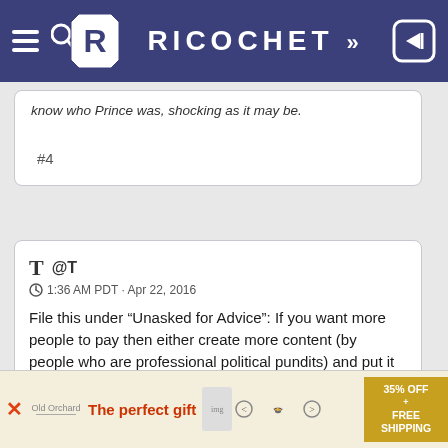RICOCHET
know who Prince was, shocking as it may be.
#4
T @T
1:36 AM PDT · Apr 22, 2016

File this under “Unasked for Advice”: If you want more people to pay then either create more content (by people who are professional political pundits) and put it behind the paywall or make all the normal podcasts available to paying members early by a day or more.
The perfect gift    35% OFF + FREE SHIPPING